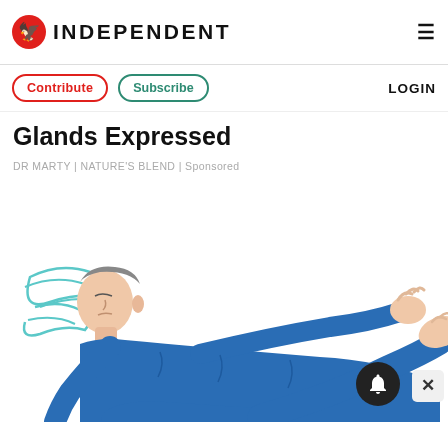INDEPENDENT
Contribute | Subscribe | LOGIN
Glands Expressed
DR MARTY | NATURE'S BLEND | Sponsored
[Figure (illustration): Illustration of a person lying on their back in blue clothing, relaxed pose with arms and legs slightly raised, on a white background.]